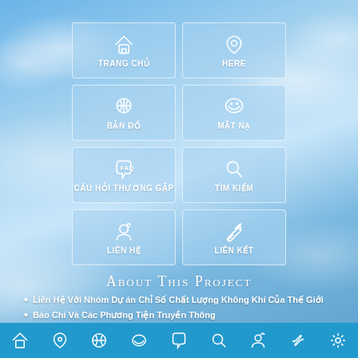[Figure (screenshot): Mobile app interface with sky/clouds background showing a navigation grid with 8 buttons: TRANG CHỦ (Home), HERE (Location), BẢN ĐỒ (Map), MẶT NẠ (Mask), CÂU HỎI THƯỜNG GẶP (FAQ), TÌM KIẾM (Search), LIÊN HỆ (Contact), LIÊN KẾT (Link). Below is 'About This Project' section with two bullet points. A blue icon bottom bar with 9 icons.]
Liên Hệ Với Nhóm Dự án Chỉ Số Chất Lượng Không Khí Của Thế Giới
Báo Chí Và Các Phương Tiện Truyền Thông